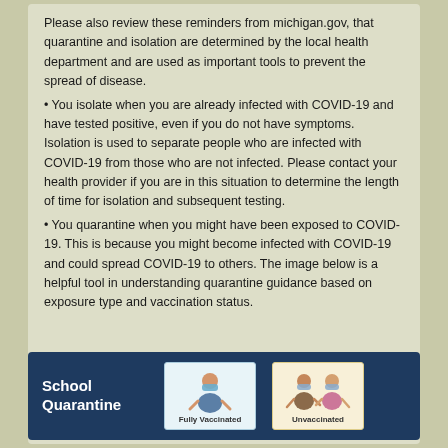Please also review these reminders from michigan.gov, that quarantine and isolation are determined by the local health department and are used as important tools to prevent the spread of disease.
• You isolate when you are already infected with COVID-19 and have tested positive, even if you do not have symptoms. Isolation is used to separate people who are infected with COVID-19 from those who are not infected. Please contact your health provider if you are in this situation to determine the length of time for isolation and subsequent testing.
• You quarantine when you might have been exposed to COVID-19. This is because you might become infected with COVID-19 and could spread COVID-19 to others. The image below is a helpful tool in understanding quarantine guidance based on exposure type and vaccination status.
[Figure (infographic): School Quarantine infographic with dark blue background showing 'School Quarantine' text on the left, a 'Fully Vaccinated' card with a masked person figure in the center, and an 'Unvaccinated' card with two masked person figures on the right.]